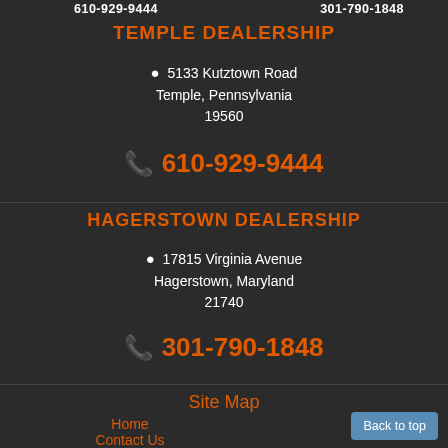610-929-9444   301-790-1848
TEMPLE DEALERSHIP
5133 Kutztown Road
Temple, Pennsylvania
19560
610-929-9444
HAGERSTOWN DEALERSHIP
17815 Virginia Avenue
Hagerstown, Maryland
21740
301-790-1848
Site Map
Home
Contact Us
Back to top